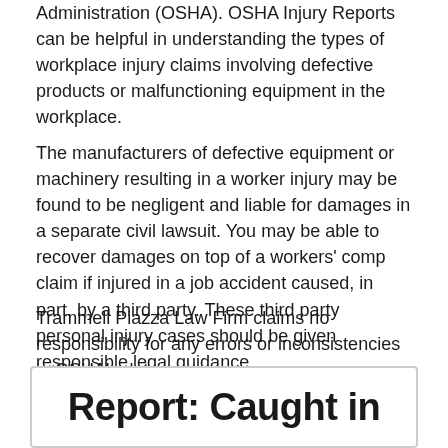Administration (OSHA). OSHA Injury Reports can be helpful in understanding the types of workplace injury claims involving defective products or malfunctioning equipment in the workplace.
The manufacturers of defective equipment or machinery resulting in a worker injury may be found to be negligent and liable for damages in a separate civil lawsuit. You may be able to recover damages on top of a workers' comp claim if injured in a job accident caused, in part, by a third party. These third party personal injury cases should be given responsible legal guidance.
Trammell Piazza Law Firm claims no responsibility for any errors or inconsistencies in OSHA's data.
A link is provided below to share or embed this report.
Report: Caught in